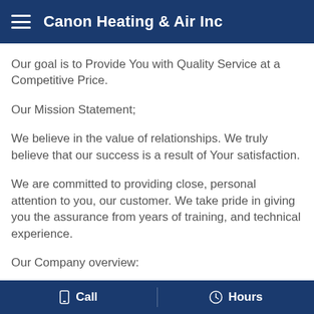Canon Heating & Air Inc
Our goal is to Provide You with Quality Service at a Competitive Price.
Our Mission Statement;
We believe in the value of relationships. We truly believe that our success is a result of Your satisfaction.
We are committed to providing close, personal attention to you, our customer. We take pride in giving you the assurance from years of training, and technical experience.
Our Company overview:
We offer a range of services. Because our company is relative small our customers benefit by getting personal
Call   Hours